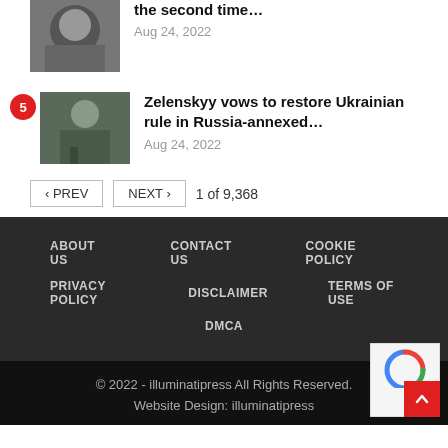[Figure (photo): Thumbnail photo of an older man]
the second time…
Aug 24, 2022
[Figure (photo): Thumbnail photo of Zelenskyy speaking]
Zelenskyy vows to restore Ukrainian rule in Russia-annexed…
Aug 24, 2022
< PREV   NEXT >   1 of 9,368
ABOUT US   CONTACT US   COOKIE POLICY   PRIVACY POLICY   DISCLAIMER   TERMS OF USE   DMCA
© 2022 - illuminatipress All Rights Reserved.
Website Design: illuminatipress